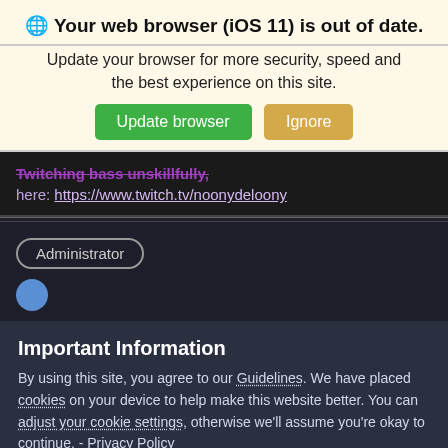🌐 Your web browser (iOS 11) is out of date.
Update your browser for more security, speed and the best experience on this site.
Update browser | Ignore
Twitching bass unskillfully,
here: https://www.twitch.tv/noonydeloony
Administrator
Important Information
By using this site, you agree to our Guidelines. We have placed cookies on your device to help make this website better. You can adjust your cookie settings, otherwise we'll assume you're okay to continue. - Privacy Policy
✓  I accept